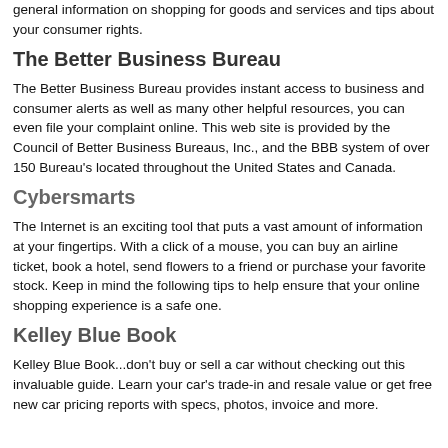general information on shopping for goods and services and tips about your consumer rights.
The Better Business Bureau
The Better Business Bureau provides instant access to business and consumer alerts as well as many other helpful resources, you can even file your complaint online. This web site is provided by the Council of Better Business Bureaus, Inc., and the BBB system of over 150 Bureau's located throughout the United States and Canada.
Cybersmarts
The Internet is an exciting tool that puts a vast amount of information at your fingertips. With a click of a mouse, you can buy an airline ticket, book a hotel, send flowers to a friend or purchase your favorite stock. Keep in mind the following tips to help ensure that your online shopping experience is a safe one.
Kelley Blue Book
Kelley Blue Book...don't buy or sell a car without checking out this invaluable guide. Learn your car's trade-in and resale value or get free new car pricing reports with specs, photos, invoice and more.